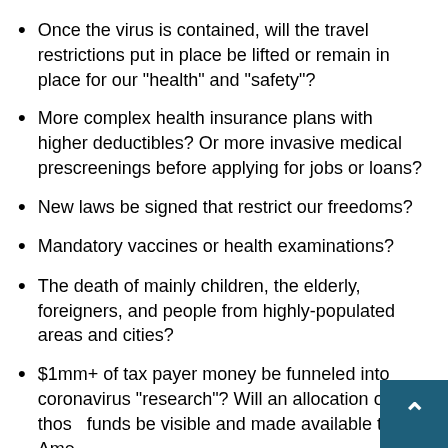Once the virus is contained, will the travel restrictions put in place be lifted or remain in place for our "health" and "safety"?
More complex health insurance plans with higher deductibles? Or more invasive medical prescreenings before applying for jobs or loans?
New laws be signed that restrict our freedoms?
Mandatory vaccines or health examinations?
The death of mainly children, the elderly, foreigners, and people from highly-populated areas and cities?
$1mm+ of tax payer money be funneled into coronavirus "research"? Will an allocation of those funds be visible and made available to the American